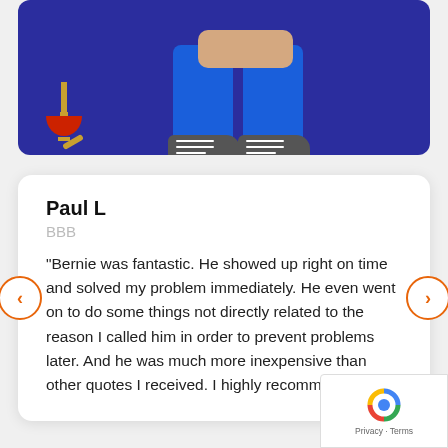[Figure (photo): Hero banner with dark blue/purple background showing a person sitting cross-legged in blue clothing with sneakers, and a plunger prop on the left side]
Paul L
BBB
"Bernie was fantastic. He showed up right on time and solved my problem immediately. He even went on to do some things not directly related to the reason I called him in order to prevent problems later. And he was much more inexpensive than other quotes I received. I highly recommend him.